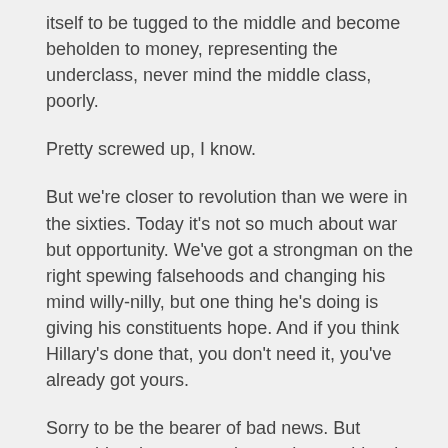itself to be tugged to the middle and become beholden to money, representing the underclass, never mind the middle class, poorly.
Pretty screwed up, I know.
But we're closer to revolution than we were in the sixties. Today it's not so much about war but opportunity. We've got a strongman on the right spewing falsehoods and changing his mind willy-nilly, but one thing he's doing is giving his constituents hope. And if you think Hillary's done that, you don't need it, you've already got yours.
Sorry to be the bearer of bad news. But everything the prognosticators have told us is wrong. You can't trust the data. It's every man for himself.
And it's time to stop triangulating and do what's right, say what's right, stand up for justice.